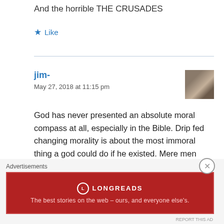And the horrible THE CRUSADES
Like
jim-
May 27, 2018 at 11:15 pm
God has never presented an absolute moral compass at all, especially in the Bible. Drip fed changing morality is about the most immoral thing a god could do if he existed. Mere men wrote the Bible, as an unchanging god is made a liar from the Bible's constant immorality and flip flopping contradictions. The church lads decades and centuries behind in
Advertisements
[Figure (logo): Longreads advertisement banner: red background with Longreads logo and tagline 'The best stories on the web – ours, and everyone else's.']